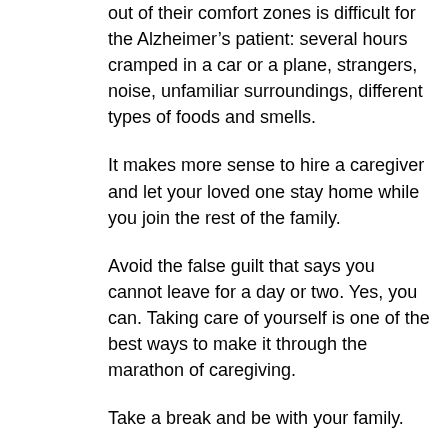out of their comfort zones is difficult for the Alzheimer’s patient: several hours cramped in a car or a plane, strangers, noise, unfamiliar surroundings, different types of foods and smells.
It makes more sense to hire a caregiver and let your loved one stay home while you join the rest of the family.
Avoid the false guilt that says you cannot leave for a day or two. Yes, you can. Taking care of yourself is one of the best ways to make it through the marathon of caregiving.
Take a break and be with your family.
Gift-giving.
None of us needs more junk, least of all — the Alzheimer’s patient. Keep the gift-giving simple.
Try these suggestions: a stuffed animal, a baby doll (especially for the women), a pretty picture for the room, a picture of family members with their childhood photos inserted next to the adult photo, a favorite piece of candy, a comfortable sweater,